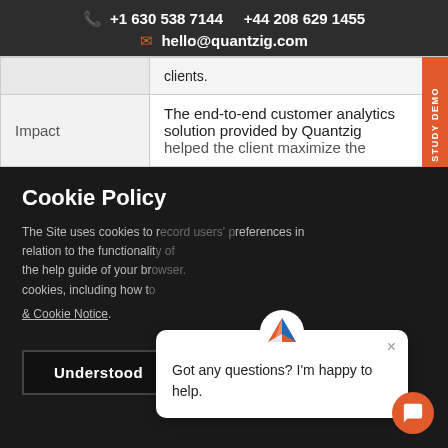+1 630 538 7144   +44 208 629 1455   hello@quantzig.com
|  | clients. |
| Impact | The end-to-end customer analytics solution provided by Quantzig helped the client maximize the |
Cookie Policy
The Site uses cookies to record users' preferences in relation to the functionality of the help guide of your browser. Our policy on cookies, including how to
& Cookie Notice.
Understood
Got any questions? I'm happy to help.